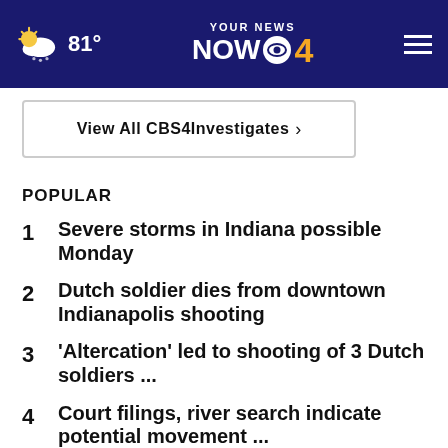81° YOUR NEWS NOW CBS 4
View All CBS4Investigates ›
POPULAR
1 Severe storms in Indiana possible Monday
2 Dutch soldier dies from downtown Indianapolis shooting
3 'Altercation' led to shooting of 3 Dutch soldiers ...
4 Court filings, river search indicate potential movement ...
5 Indiana man sentenced for dealing